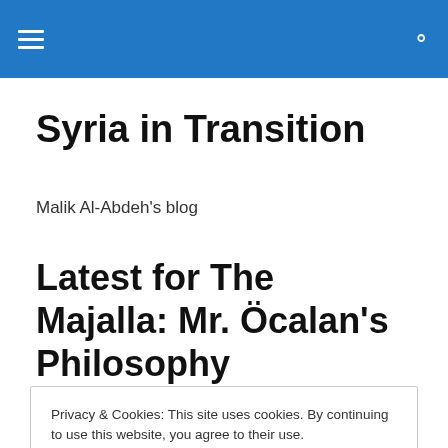Syria in Transition
Malik Al-Abdeh's blog
Latest for The Majalla: Mr. Öcalan's Philosophy
Privacy & Cookies: This site uses cookies. By continuing to use this website, you agree to their use.
To find out more, including how to control cookies, see here: Cookie Policy
architect of Kurdish self-determination